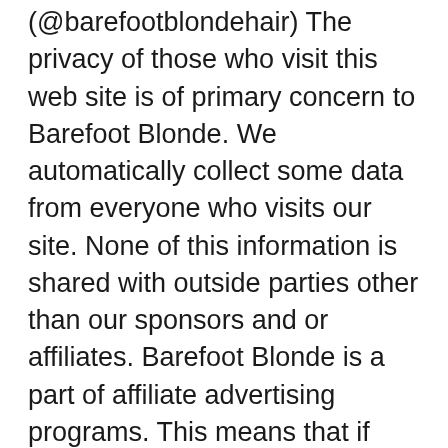(@barefootblondehair) The privacy of those who visit this web site is of primary concern to Barefoot Blonde. We automatically collect some data from everyone who visits our site. None of this information is shared with outside parties other than our sponsors and or affiliates. Barefoot Blonde is a part of affiliate advertising programs. This means that if you click
Also, IвЂ™m looking to start wearing hair extensions and love all your tutorials! My problem is that the Euronext вЂњblonde frostвЂќ you mentioned in a how-to tutorial is discontinued for 18+inches and the